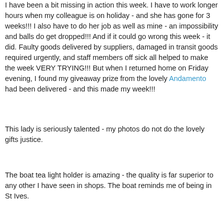I have been a bit missing in action this week. I have to work longer hours when my colleague is on holiday - and she has gone for 3 weeks!!! I also have to do her job as well as mine - an impossibility and balls do get dropped!!! And if it could go wrong this week - it did. Faulty goods delivered by suppliers, damaged in transit goods required urgently, and staff members off sick all helped to make the week VERY TRYING!!! But when I returned home on Friday evening, I found my giveaway prize from the lovely Andamento had been delivered - and this made my week!!!
This lady is seriously talented - my photos do not do the lovely gifts justice.
The boat tea light holder is amazing - the quality is far superior to any other I have seen in shops. The boat reminds me of being in St Ives.